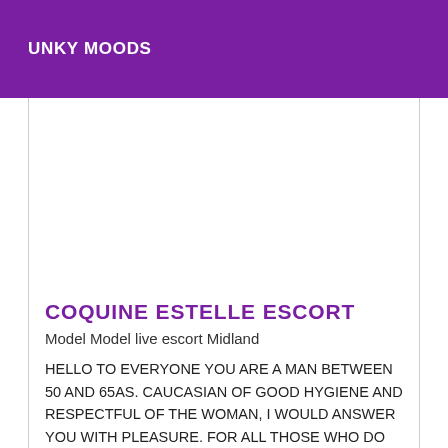UNKY MOODS
[Figure (photo): Empty white image placeholder area]
COQUINE ESTELLE ESCORT
Model Model live escort Midland
HELLO TO EVERYONE YOU ARE A MAN BETWEEN 50 AND 65AS. CAUCASIAN OF GOOD HYGIENE AND RESPECTFUL OF THE WOMAN, I WOULD ANSWER YOU WITH PLEASURE. FOR ALL THOSE WHO DO